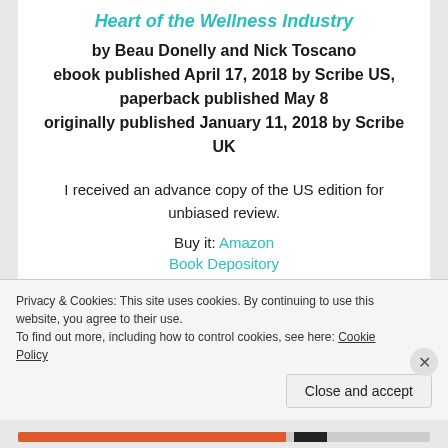Heart of the Wellness Industry
by Beau Donelly and Nick Toscano
ebook published April 17, 2018 by Scribe US,
paperback published May 8
originally published January 11, 2018 by Scribe UK
I received an advance copy of the US edition for unbiased review.
Buy it: Amazon
Book Depository
Privacy & Cookies: This site uses cookies. By continuing to use this website, you agree to their use.
To find out more, including how to control cookies, see here: Cookie Policy